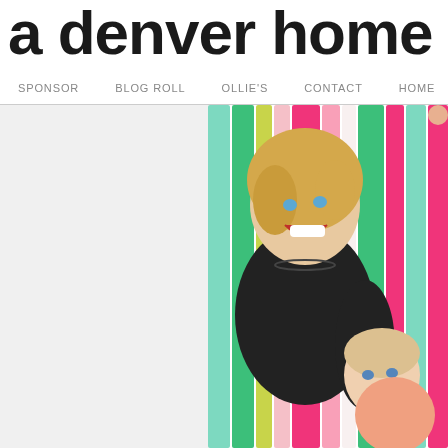a denver home c
SPONSOR   BLOG ROLL   OLLIE'S   CONTACT   HOME
[Figure (photo): A smiling blonde woman in a black top holding a baby in front of colorful hanging streamers (green, pink, yellow, teal) on a white background. The left side of the image is mostly white/empty.]